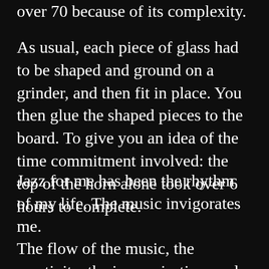over 70 because of its complexity.
As usual, each piece of glass had to be shaped and ground on a grinder, and then fit in place. You then glue the shaped pieces to the board. To give you an idea of the time commitment involved: the top of the horn alone took over 6 hours to complete.
Jazz for me has been the rhythm of my life. The music invigorates me.
The flow of the music, the creativity, the improvisation, and the various techniques that musicians use inspire me. There is a message that I feel jazz imparts: Share what you've learned;